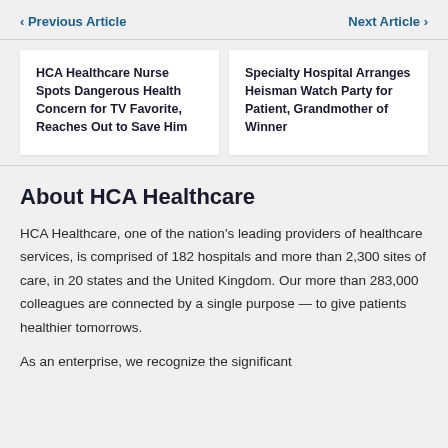‹ Previous Article    Next Article ›
HCA Healthcare Nurse Spots Dangerous Health Concern for TV Favorite, Reaches Out to Save Him
Specialty Hospital Arranges Heisman Watch Party for Patient, Grandmother of Winner
About HCA Healthcare
HCA Healthcare, one of the nation's leading providers of healthcare services, is comprised of 182 hospitals and more than 2,300 sites of care, in 20 states and the United Kingdom. Our more than 283,000 colleagues are connected by a single purpose — to give patients healthier tomorrows.
As an enterprise, we recognize the significant